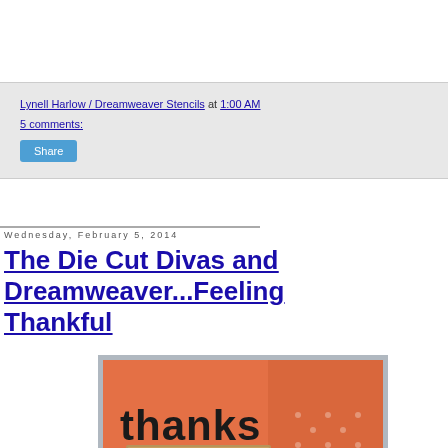Lynell Harlow / Dreamweaver Stencils at 1:00 AM
5 comments:
[Share button]
Wednesday, February 5, 2014
The Die Cut Divas and Dreamweaver...Feeling Thankful
[Figure (photo): A handmade greeting card with the word 'thanks' in large black letters on an orange patterned background, with a kraft paper envelope in front.]